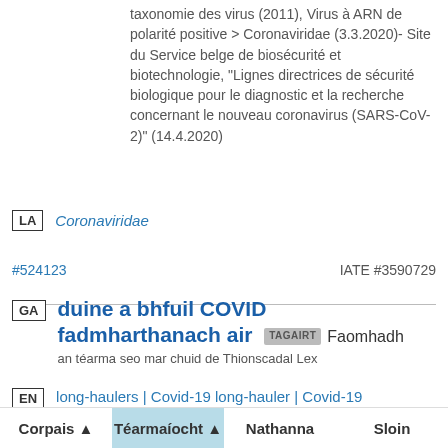huitième rapport du Comité international de taxonomie des virus (2011), Virus à ARN de polarité positive > Coronaviridae (3.3.2020)- Site du Service belge de biosécurité et biotechnologie, "Lignes directrices de sécurité biologique pour le diagnostic et la recherche concernant le nouveau coronavirus (SARS-CoV-2)" (14.4.2020)
LA  Coronaviridae
#524123   IATE #3590729
GA  duine a bhfuil COVID fadmharthanach air  TAGAIRT Faomhadh an téarma seo mar chuid de Thionscadal Lex
EN  long-haulers | Covid-19 long-hauler | Covid-19 'long-haulers' | long covid patient | coronavirus long-
Corpais ▲   Téarmaíocht ▲   Nathanna   Sloin